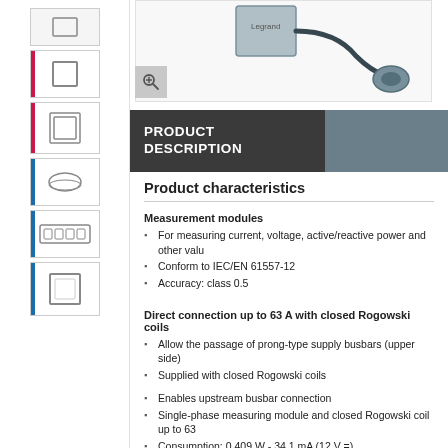[Figure (photo): Product photo of a Legrand measurement module with cable and sensor attachment, shown on white background with a zoom/magnify button in the lower left corner]
PRODUCT DESCRIPTION
Product characteristics
Measurement modules
For measuring current, voltage, active/reactive power and other valu
Conform to IEC/EN 61557-12
Accuracy: class 0.5
Direct connection up to 63 A with closed Rogowski coils
Allow the passage of prong-type supply busbars (upper side)
Supplied with closed Rogowski coils
Enables upstream busbar connection
Single-phase measuring module and closed Rogowski coil up to 63
Consumption: 0.409 W - 34.1 mA (12 V =)
Number of modules : 1